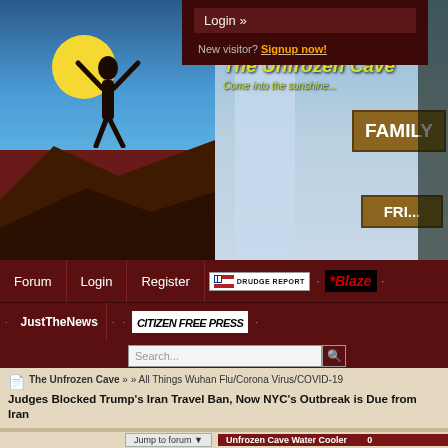[Figure (screenshot): Website banner with cave artwork on left, 'The Unfrozen Cave / Come into the sunshine' text in center, and wooden signs on right]
Login »
New visitor? Signup now!
Forum | Login | Register | Drudge Report | The Blaze | JustTheNews | Citizen Free Press | Search
The Unfrozen Cave » » All Things Wuhan Flu/Corona Virus/COVID-19 Judges Blocked Trump's Iran Travel Ban, Now NYC's Outbreak is Due from Iran
Jump to forum ▼
Unfrozen Cave Water Cooler  0